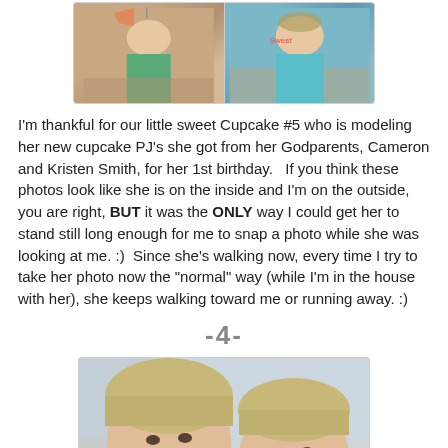[Figure (photo): Two photos side by side of a child in cupcake PJ's, seen through a glass door/window, with hands raised]
I'm thankful for our little sweet Cupcake #5 who is modeling her new cupcake PJ's she got from her Godparents, Cameron and Kristen Smith, for her 1st birthday.   If you think these photos look like she is on the inside and I'm on the outside, you are right, BUT it was the ONLY way I could get her to stand still long enough for me to snap a photo while she was looking at me. :)  Since she's walking now, every time I try to take her photo now the "normal" way (while I'm in the house with her), she keeps walking toward me or running away. :)
-4-
[Figure (photo): Selfie photo of two young girls with wet hair, one in a blue shirt, smiling at the camera]